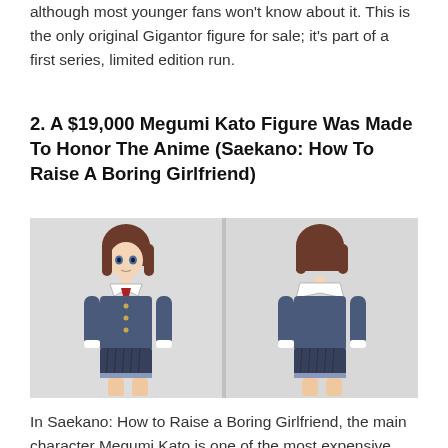although most younger fans won't know about it. This is the only original Gigantor figure for sale; it's part of a first series, limited edition run.
2. A $19,000 Megumi Kato Figure Was Made To Honor The Anime (Saekano: How To Raise A Boring Girlfriend)
[Figure (photo): Two-panel photo showing front and back views of a Megumi Kato anime figure wearing a blue sailor school uniform with a red ribbon tie and pleated skirt.]
In Saekano: How to Raise a Boring Girlfriend, the main character Megumi Kato is one of the most expensive figures